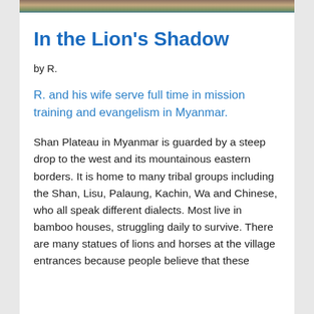[Figure (photo): Partial photo strip at the top of the page showing an outdoor scene]
In the Lion’s Shadow
by R.
R. and his wife serve full time in mission training and evangelism in Myanmar.
Shan Plateau in Myanmar is guarded by a steep drop to the west and its mountainous eastern borders. It is home to many tribal groups including the Shan, Lisu, Palaung, Kachin, Wa and Chinese, who all speak different dialects. Most live in bamboo houses, struggling daily to survive. There are many statues of lions and horses at the village entrances because people believe that these